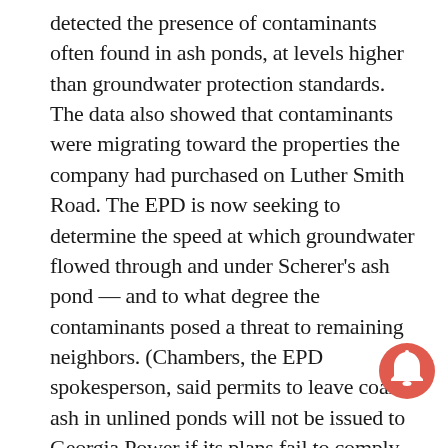detected the presence of contaminants often found in ash ponds, at levels higher than groundwater protection standards. The data also showed that contaminants were migrating toward the properties the company had purchased on Luther Smith Road. The EPD is now seeking to determine the speed at which groundwater flowed through and under Scherer's ash pond — and to what degree the contaminants posed a threat to remaining neighbors. (Chambers, the EPD spokesperson, said permits to leave coal ash in unlined ponds will not be issued to Georgia Power if its plans fail to comply with the coal ash rule.)
The company downplayed the concerns from